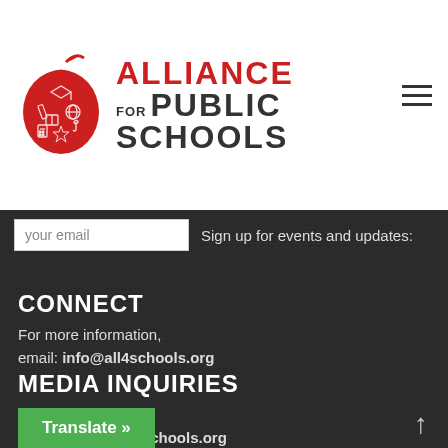[Figure (logo): Alliance for Public Schools logo with red apple graphic and text]
your email
Sign up for events and updates:
CONNECT
For more information,
email: info@all4schools.org
MEDIA INQUIRIES
For media inquiries,
email: press@all4schools.org
Translate »